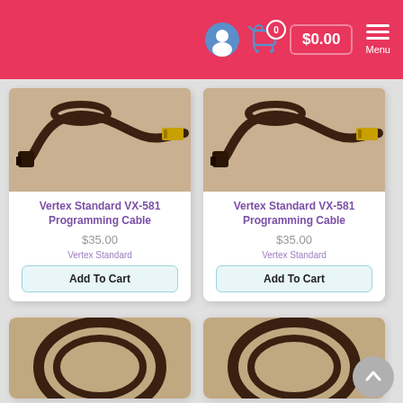$0.00 | Menu
[Figure (photo): Vertex Standard VX-581 Programming Cable product photo - dark brown/black cable with USB connector]
Vertex Standard VX-581 Programming Cable
$35.00
Vertex Standard
Add To Cart
[Figure (photo): Vertex Standard VX-581 Programming Cable product photo - dark brown/black cable with USB connector]
Vertex Standard VX-581 Programming Cable
$35.00
Vertex Standard
Add To Cart
[Figure (photo): Partially visible product photo at bottom left - dark cable coil]
[Figure (photo): Partially visible product photo at bottom right - dark cable coil]